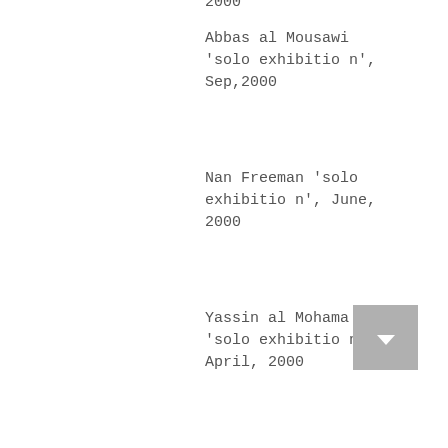2000
Abbas al Mousawi 'solo exhibition',  Sep,2000
Nan Freeman 'solo exhibition', June, 2000
Yassin al Mohamadawi 'solo exhibition',  April, 2000